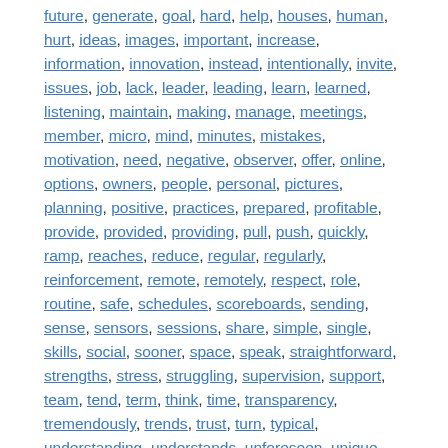future, generate, goal, hard, help, houses, human, hurt, ideas, images, important, increase, information, innovation, instead, intentionally, invite, issues, job, lack, leader, leading, learn, learned, listening, maintain, making, manage, meetings, member, micro, mind, minutes, mistakes, motivation, need, negative, observer, offer, online, options, owners, people, personal, pictures, planning, positive, practices, prepared, profitable, provide, provided, providing, pull, push, quickly, ramp, reaches, reduce, regular, regularly, reinforcement, remote, remotely, respect, role, routine, safe, schedules, scoreboards, sending, sense, sensors, sessions, share, simple, single, skills, social, sooner, space, speak, straightforward, strengths, stress, struggling, supervision, support, team, tend, term, think, time, transparency, tremendously, trends, trust, turn, typical, understanding, understands, unforeseen, unique, unlearn, unleash, updates, used, usual, value, variable, video, way, work, working, yourself